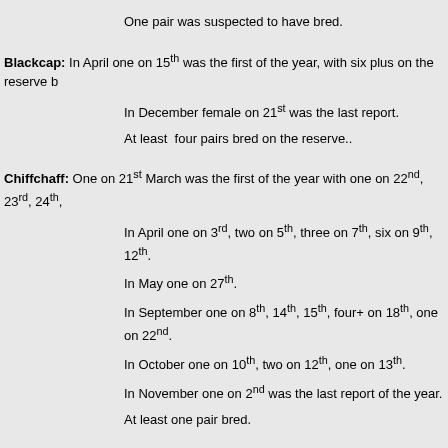One pair was suspected to have bred.
Blackcap: In April one on 15th was the first of the year, with six plus on the reserve b...
In December female on 21st was the last report.
At least four pairs bred on the reserve..
Chiffchaff: One on 21st March was the first of the year with one on 22nd, 23rd, 24th,
In April one on 3rd, two on 5th, three on 7th, six on 9th, 12th.
In May one on 27th.
In September one on 8th, 14th, 15th, four+ on 18th, one on 22nd.
In October one on 10th, two on 12th, one on 13th.
In November one on 2nd was the last report of the year.
At least one pair bred.